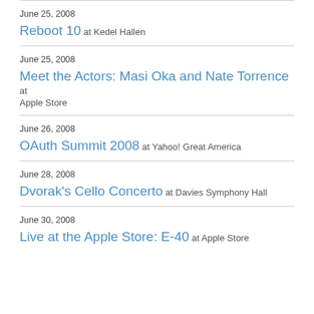June 25, 2008 — Reboot 10 at Kedel Hallen
June 25, 2008 — Meet the Actors: Masi Oka and Nate Torrence at Apple Store
June 26, 2008 — OAuth Summit 2008 at Yahoo! Great America
June 28, 2008 — Dvorak's Cello Concerto at Davies Symphony Hall
June 30, 2008 — Live at the Apple Store: E-40 at Apple Store